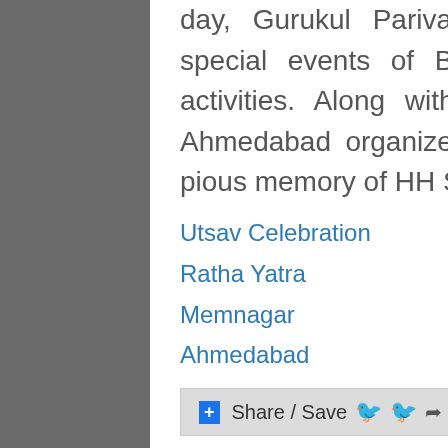day, Gurukul Parivar celebrates this occasion with special events of Bhajan-Bhakti and social-religious activities. Along with the special assembly, Gurukul Ahmedabad organizes a marvelous Rath Yatra in the pious memory of HH Shastriji Maharaj.
Utsav Celebration
Ratha Yatra
Memnagar
Ahmedabad
Share / Save  Add new comment  Read more
Rath Yatra - 2012